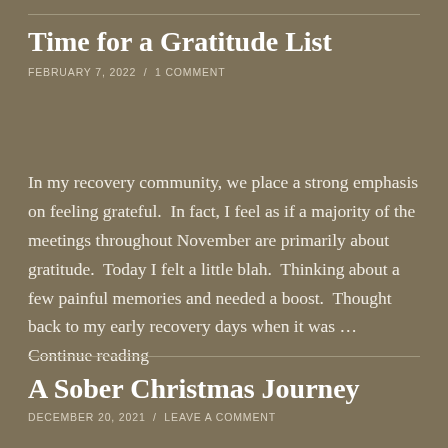Time for a Gratitude List
FEBRUARY 7, 2022  /  1 COMMENT
In my recovery community, we place a strong emphasis on feeling grateful.  In fact, I feel as if a majority of the meetings throughout November are primarily about gratitude.  Today I felt a little blah.  Thinking about a few painful memories and needed a boost.  Thought back to my early recovery days when it was … Continue reading
A Sober Christmas Journey
DECEMBER 20, 2021  /  LEAVE A COMMENT